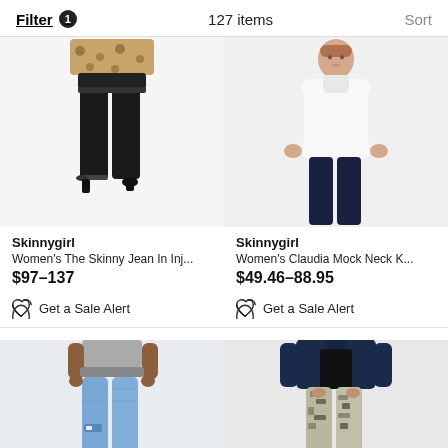Filter 1   127 items   Sort
[Figure (photo): Woman wearing black skinny jeans with leopard print top and black heels]
Skinnygirl
Women's The Skinny Jean In Inj...
$97–137
Get a Sale Alert
[Figure (photo): Woman wearing white mock neck knit sweater with dark pants]
Skinnygirl
Women's Claudia Mock Neck K...
$49.46–88.95
Get a Sale Alert
[Figure (photo): Woman wearing light blue ripped skinny jeans with grey top]
[Figure (photo): Woman wearing camo skinny pants with denim jacket]